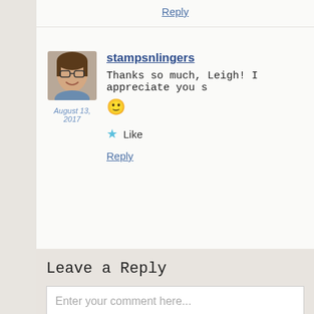Reply
[Figure (photo): Avatar photo of a woman with glasses smiling]
August 13, 2017
stampsnlingers
Thanks so much, Leigh! I appreciate you s
🙂
Like
Reply
Leave a Reply
Enter your comment here...